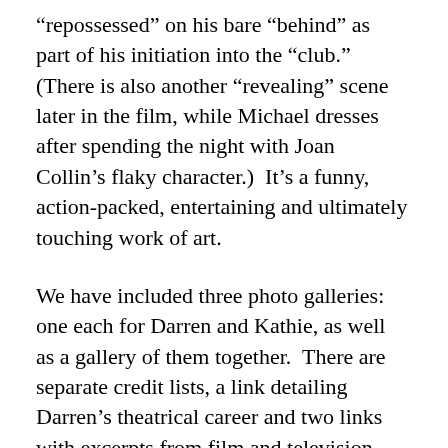“repossessed” on his bare “behind” as part of his initiation into the “club.”  (There is also another “revealing” scene later in the film, while Michael dresses after spending the night with Joan Collin’s flaky character.)  It’s a funny, action-packed, entertaining and ultimately touching work of art.
We have included three photo galleries: one each for Darren and Kathie, as well as a gallery of them together.  There are separate credit lists, a link detailing Darren’s theatrical career and two links with excerpts from film and television scripts.  Some of the scripts are significantly different than what was aired; the GUNSMOKE script, “Gunfighter, R.I.P,” for instance, has a stunning climax which if filmed...